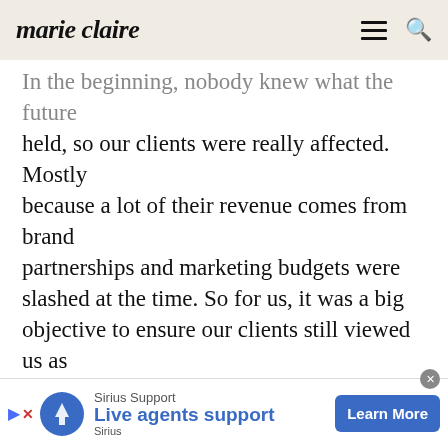marie claire
In the beginning, nobody knew what the future held, so our clients were really affected. Mostly because a lot of their revenue comes from brand partnerships and marketing budgets were slashed at the time. So for us, it was a big objective to ensure our clients still viewed us as an essential business need. I'm pleased to say that we had high retention during the pandemic; our clients needed our support and because we are based around the globe –
[Figure (infographic): Sirius Support advertisement banner at bottom of page. Shows blue circular logo with tree icon, text 'Sirius Support' and 'Live agents support', with 'Learn More' button in blue.]